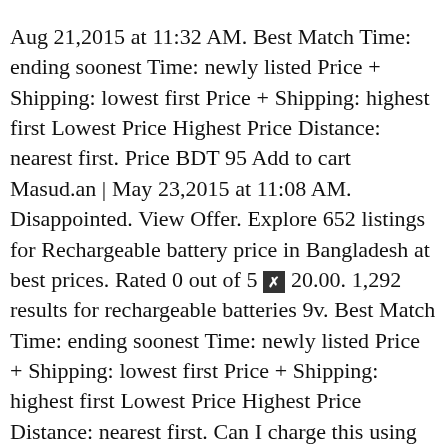Aug 21,2015 at 11:32 AM. Best Match Time: ending soonest Time: newly listed Price + Shipping: lowest first Price + Shipping: highest first Lowest Price Highest Price Distance: nearest first. Price BDT 95 Add to cart Masud.an | May 23,2015 at 11:08 AM. Disappointed. View Offer. Explore 652 listings for Rechargeable battery price in Bangladesh at best prices. Rated 0 out of 5 [X] 20.00. 1,292 results for rechargeable batteries 9v. Best Match Time: ending soonest Time: newly listed Price + Shipping: lowest first Price + Shipping: highest first Lowest Price Highest Price Distance: nearest first. Can I charge this using an adopter? TP-Link Router Power Adapter 9v Available cheap Price in Bangladesh. Battery GLOBATT, LUCAS and SPARK are renowned brands in the automotive battery industry of Bangladesh, under the umbrella of Rahimafrooz. Sourcing Request From: